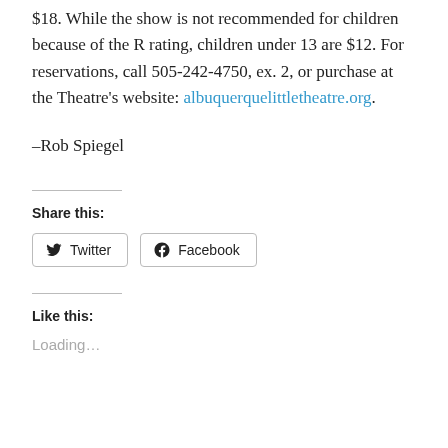$18. While the show is not recommended for children because of the R rating, children under 13 are $12. For reservations, call 505-242-4750, ex. 2, or purchase at the Theatre's website: albuquerquelittletheatre.org.
–Rob Spiegel
Share this:
Twitter
Facebook
Like this:
Loading...